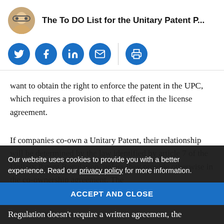The To DO List for the Unitary Patent P...
[Figure (infographic): Social sharing icons: Twitter, Facebook, LinkedIn, Email, Print]
want to obtain the right to enforce the patent in the UPC, which requires a provision to that effect in the license agreement.
If companies co-own a Unitary Patent, their relationship will be determined by the law identified by article 7 of the Unitary Patent Regulation, unless they provide otherwise in the co-ownership agreement. The ... ent ... for ... Regulation doesn't require a written agreement, the
Our website uses cookies to provide you with a better experience. Read our privacy policy for more information.
ACCEPT AND CLOSE